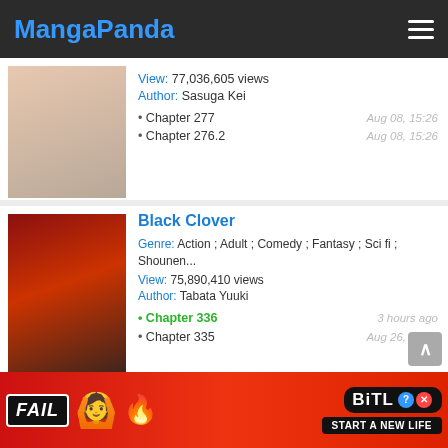MangaPanda
View: 77,036,605 views
Author: Sasuga Kei
• Chapter 277   Aug 08, 15:26
• Chapter 276.2   Aug 08, 15:26
Black Clover
Genre: Action ; Adult ; Comedy ; Fantasy ; Sci fi ; Shounen...
View: 75,890,410 views
Author: Tabata Yuuki
• Chapter 336   3 hours ago
• Chapter 335   Aug 26, 14:00
Ranker Who Lives A Second Time
Genre: Action ; Adventure ; Fantasy ; Webtoons
[Figure (screenshot): Ad banner for BitLife mobile game with FAIL badge, animated character, fire emoji, BitLife logo with ? and X icons, and START A NEW LIFE tagline]